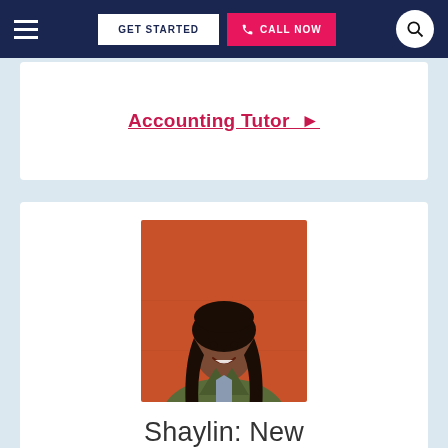GET STARTED | CALL NOW
Accounting Tutor ▶
[Figure (photo): Portrait photo of a smiling young woman with long dark hair wearing a green jacket over a grey top, standing in front of an orange/red wall.]
Shaylin: New